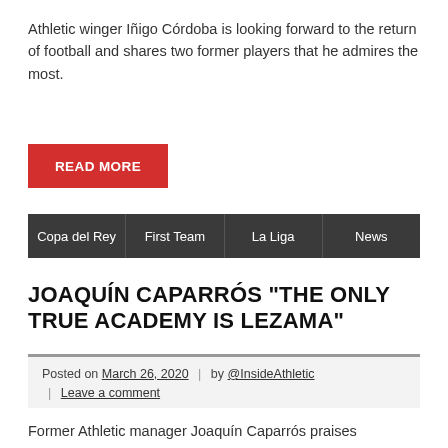Athletic winger Iñigo Córdoba is looking forward to the return of football and shares two former players that he admires the most.
READ MORE
Copa del Rey
First Team
La Liga
News
JOAQUÍN CAPARRÓS “THE ONLY TRUE ACADEMY IS LEZAMA”
Posted on March 26, 2020 | by @InsideAthletic | Leave a comment
Former Athletic manager Joaquín Caparrós praises